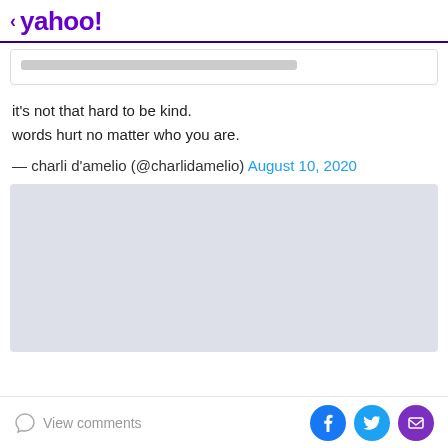< yahoo!
[Figure (other): Partially visible card with a gray loading bar placeholder]
it's not that hard to be kind.
words hurt no matter who you are.
— charli d'amelio (@charlidamelio) August 10, 2020
[Figure (other): Large gray placeholder rectangle for embedded media]
View comments